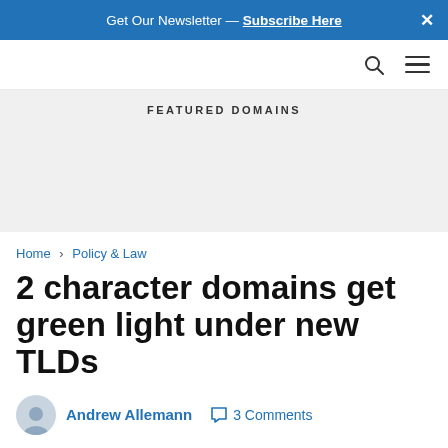Get Our Newsletter — Subscribe Here  ×
FEATURED DOMAINS
Home › Policy & Law
2 character domains get green light under new TLDs
Andrew Allemann   3 Comments